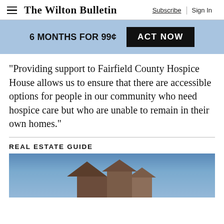The Wilton Bulletin | Subscribe | Sign In
6 MONTHS FOR 99¢  ACT NOW
“Providing support to Fairfield County Hospice House allows us to ensure that there are accessible options for people in our community who need hospice care but who are unable to remain in their own homes.”
REAL ESTATE GUIDE
[Figure (photo): Photo of a house rooftop against a blue sky, partially visible at bottom of page]